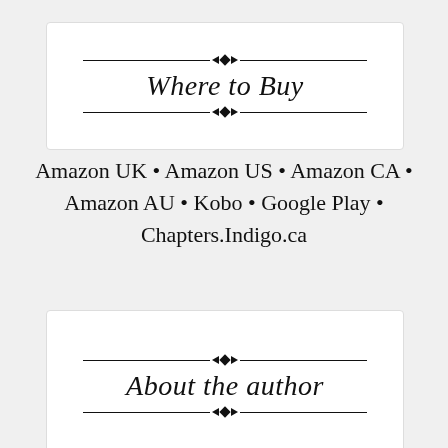[Figure (illustration): Decorative banner box with ornamental dividers and script text reading 'Where to Buy']
Amazon UK • Amazon US • Amazon CA • Amazon AU • Kobo • Google Play • Chapters.Indigo.ca
[Figure (illustration): Decorative banner box with ornamental dividers and script text reading 'About the author']